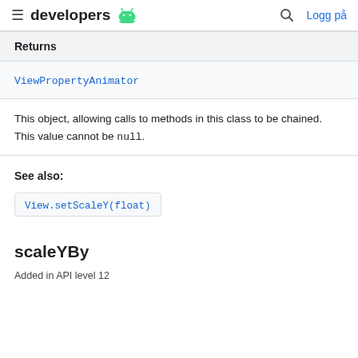developers   Logg på
Returns
ViewPropertyAnimator
This object, allowing calls to methods in this class to be chained. This value cannot be null.
See also:
View.setScaleY(float)
scaleYBy
Added in API level 12